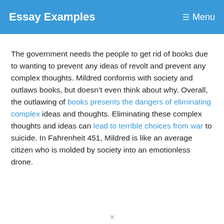Essay Examples   Menu
The government needs the people to get rid of books due to wanting to prevent any ideas of revolt and prevent any complex thoughts. Mildred conforms with society and outlaws books, but doesn’t even think about why. Overall, the outlawing of books presents the dangers of eliminating complex ideas and thoughts. Eliminating these complex thoughts and ideas can lead to terrible choices from war to suicide. In Fahrenheit 451, Mildred is like an average citizen who is molded by society into an emotionless drone.